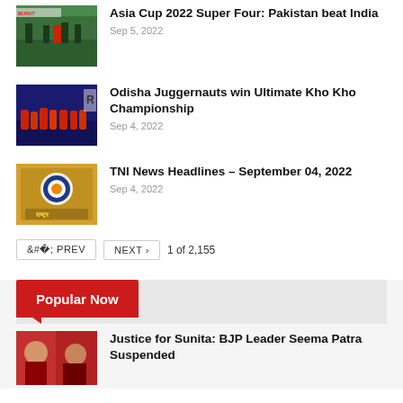[Figure (photo): Cricket players on field with green uniforms and BERMIT advertisement board visible]
Asia Cup 2022 Super Four: Pakistan beat India
Sep 5, 2022
[Figure (photo): Sports team players in red and black uniforms celebrating on court]
Odisha Juggernauts win Ultimate Kho Kho Championship
Sep 4, 2022
[Figure (photo): TNI logo with Indian flag emblem and Hindi text signage]
TNI News Headlines – September 04, 2022
Sep 4, 2022
< PREV   NEXT >   1 of 2,155
Popular Now
[Figure (photo): Two women's faces shown in a photo collage]
Justice for Sunita: BJP Leader Seema Patra Suspended